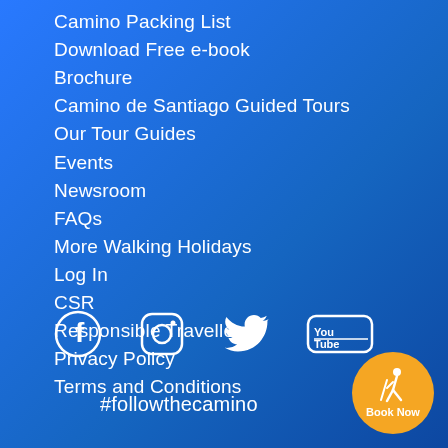Camino Packing List
Download Free e-book
Brochure
Camino de Santiago Guided Tours
Our Tour Guides
Events
Newsroom
FAQs
More Walking Holidays
Log In
CSR
Responsible Traveller
Privacy Policy
Terms and Conditions
[Figure (infographic): Social media icons: Facebook, Instagram, Twitter, YouTube]
#followthecamino
[Figure (illustration): Orange circular Book Now button with hiking figure icon]